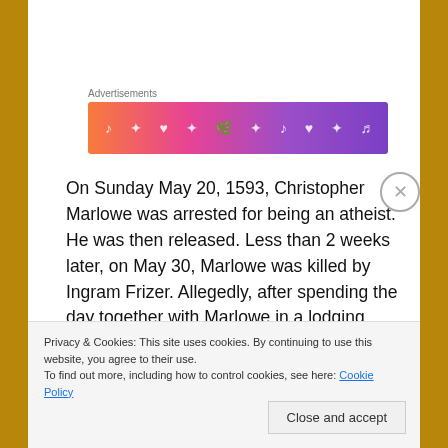Advertisements
[Figure (illustration): Colorful gradient advertisement banner with music and heart icons, gradient from orange-red to purple]
On Sunday May 20, 1593, Christopher Marlowe was arrested for being an atheist. He was then released. Less than 2 weeks later, on May 30, Marlowe was killed by Ingram Frizer. Allegedly, after spending the day together with Marlowe in a lodging house, a fight broke out between Marlowe and Frizer over the bill, and Marlowe was stabbed in the forehead and killed.⁴ Speculation and conspiracy theories about his atheism
Privacy & Cookies: This site uses cookies. By continuing to use this website, you agree to their use.
To find out more, including how to control cookies, see here: Cookie Policy